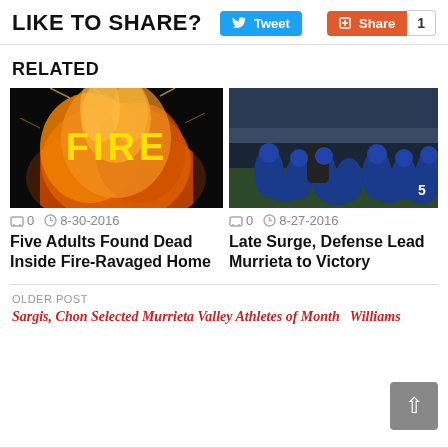LIKE TO SHARE?
[Figure (screenshot): Twitter Tweet button (blue) and red Share button with count of 1]
RELATED
[Figure (photo): Fire image with yellow text 'FIRE' on flames background]
0  8-30-2016
Five Adults Found Dead Inside Fire-Ravaged Home
[Figure (photo): Football team huddle on field at night, players in blue uniforms]
0  8-27-2016
Late Surge, Defense Lead Murrieta to Victory
OLDER POST
Sargis, Chon Selected Murrieta Valley Athletes of Month
Williams